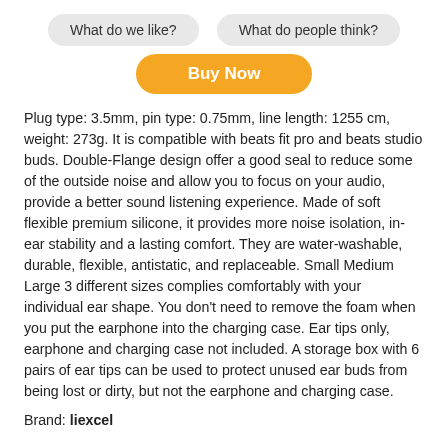What do we like?
What do people think?
Buy Now
Plug type: 3.5mm, pin type: 0.75mm, line length: 1255 cm, weight: 273g. It is compatible with beats fit pro and beats studio buds. Double-Flange design offer a good seal to reduce some of the outside noise and allow you to focus on your audio, provide a better sound listening experience. Made of soft flexible premium silicone, it provides more noise isolation, in- ear stability and a lasting comfort. They are water-washable, durable, flexible, antistatic, and replaceable. Small Medium Large 3 different sizes complies comfortably with your individual ear shape. You don't need to remove the foam when you put the earphone into the charging case. Ear tips only, earphone and charging case not included. A storage box with 6 pairs of ear tips can be used to protect unused ear buds from being lost or dirty, but not the earphone and charging case.
Brand: liexcel